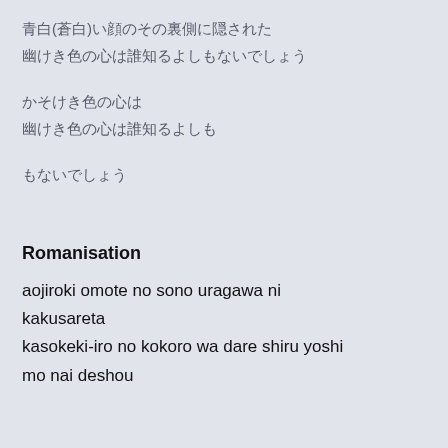青白(蒼白)い顔のその裏側に隠された
幽けき色の心は誰知るよしもないでしょう
かそけき色の心は
幽けき色の心は誰知るよしも
もないでしょう
Romanisation
aojiroki omote no sono uragawa ni kakusareta
kasokeki-iro no kokoro wa dare shiru yoshi mo nai deshou